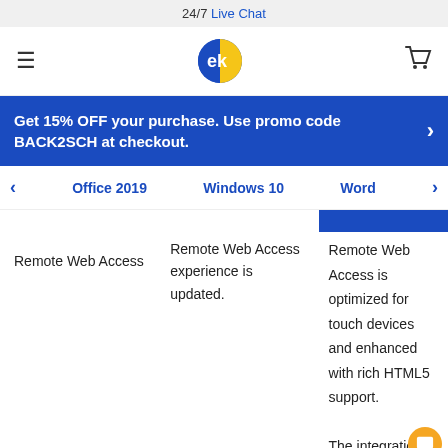24/7 Live Chat
[Figure (logo): EK logo — blue and yellow circular icon with letters ek]
Get 15% OFF your purchase. Use promo code BACK2SCH at checkout.
Office 2019   Windows 10   Word
Remote Web Access
Remote Web Access experience is updated.
Remote Web Access is optimized for touch devices and enhanced with rich HTML5 support.

The integration of